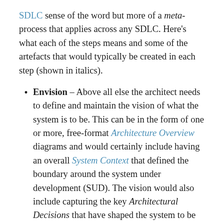SDLC sense of the word but more of a meta-process that applies across any SDLC. Here's what each of the steps means and some of the artefacts that would typically be created in each step (shown in italics).
Envision – Above all else the architect needs to define and maintain the vision of what the system is to be. This can be in the form of one or more, free-format Architecture Overview diagrams and would certainly include having an overall System Context that defined the boundary around the system under development (SUD). The vision would also include capturing the key Architectural Decisions that have shaped the system to be the solution it is and...